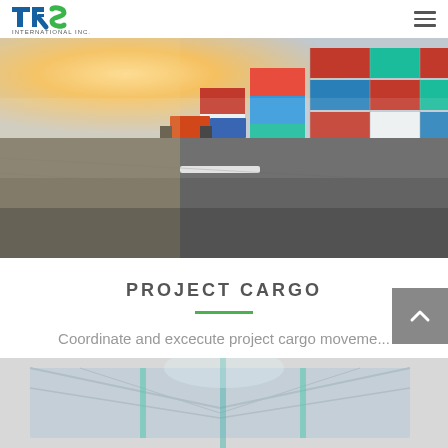TRS International Inc. — navigation header with logo and hamburger menu
[Figure (photo): Cargo shipping yard with stacked colorful intermodal containers (red, blue, teal, white) in background, large asphalt road in foreground, trucks visible, warm sunset light from left side]
PROJECT CARGO
Coordinate and excecute project cargo moveme...